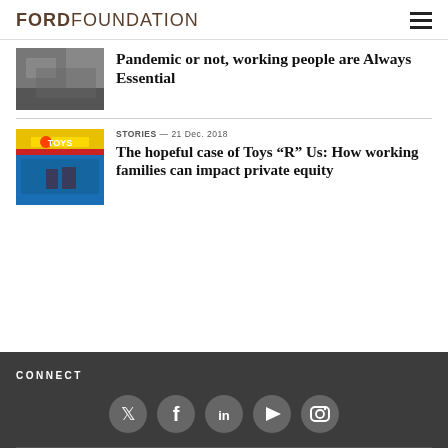FORD FOUNDATION
[Figure (photo): Thumbnail image of people working, partially visible at top]
Pandemic or not, working people are Always Essential
[Figure (photo): Toys R Us store front with colorful signage and a person walking]
STORIES — 21 Dec. 2018
The hopeful case of Toys “R” Us: How working families can impact private equity
CONNECT
[Figure (infographic): Social media icons: Twitter, Facebook, LinkedIn, YouTube, Instagram]